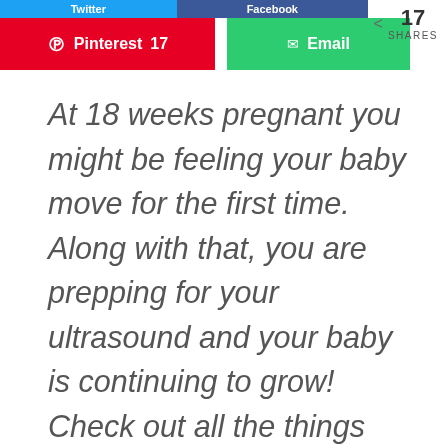[Figure (screenshot): Social sharing buttons: Twitter (blue), Facebook (dark blue) on top row; Pinterest (red) with count 17, Email (green) on second row]
17 SHARES
At 18 weeks pregnant you might be feeling your baby move for the first time. Along with that, you are prepping for your ultrasound and your baby is continuing to grow! Check out all the things happening this week!